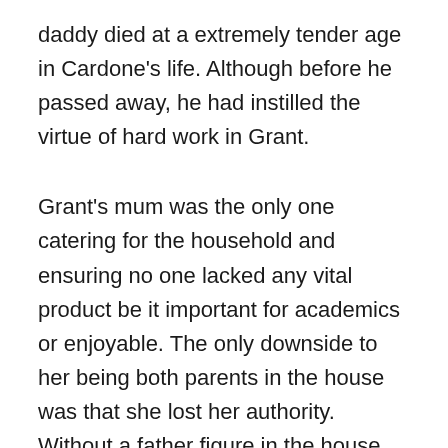daddy died at a extremely tender age in Cardone's life. Although before he passed away, he had instilled the virtue of hard work in Grant.
Grant's mum was the only one catering for the household and ensuring no one lacked any vital product be it important for academics or enjoyable. The only downside to her being both parents in the house was that she lost her authority. Without a father figure in the house, Grant Cardone Despite being industrious lost himself to a stubborn way of life.
He had a dream of ending up being effective and he attempted working towards it. After he failed, he